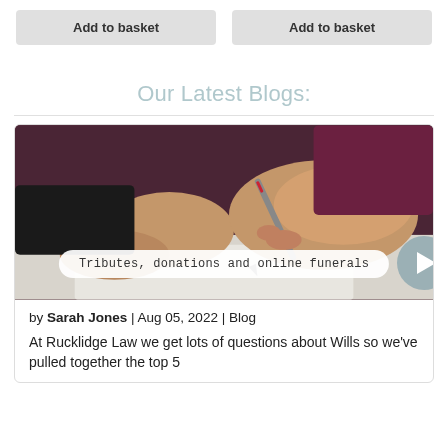Add to basket
Add to basket
Our Latest Blogs:
[Figure (photo): Elderly person's hands writing on paper with a pen; overlay pill label reads 'Tributes, donations and online funerals' with a play button on the right.]
by Sarah Jones | Aug 05, 2022 | Blog
At Rucklidge Law we get lots of questions about Wills so we've pulled together the top 5